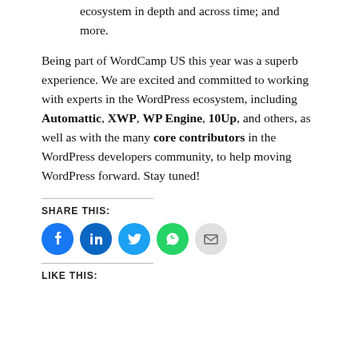ecosystem in depth and across time; and more.
Being part of WordCamp US this year was a superb experience. We are excited and committed to working with experts in the WordPress ecosystem, including Automattic, XWP, WP Engine, 10Up, and others, as well as with the many core contributors in the WordPress developers community, to help moving WordPress forward. Stay tuned!
SHARE THIS:
[Figure (infographic): Row of five social share icon buttons: Facebook (blue circle), LinkedIn (dark blue circle), Twitter (light blue circle), WhatsApp (green circle), Email (gray circle)]
LIKE THIS: